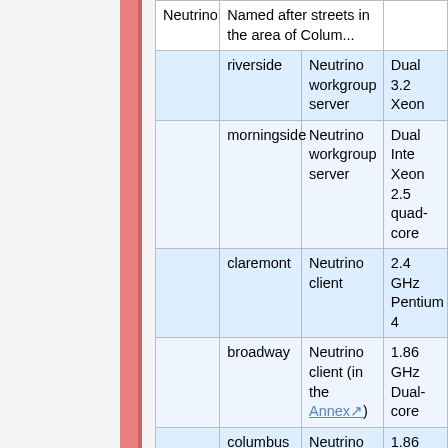| Group | Name | Function | CPU |
| --- | --- | --- | --- |
| Neutrino |  | Named after streets in the area of Colum... |  |
|  | riverside | Neutrino workgroup server | Dual 3.2 Xeon |
|  | morningside | Neutrino workgroup server | Dual Inte Xeon 2.5 quad-core |
|  | claremont | Neutrino client | 2.4 GHz Pentium 4 |
|  | broadway | Neutrino client (in the Annex) | 1.86 GHz Dual-core |
|  | columbus | Neutrino client (in the Annex) | 1.86 GHz Dual-core |
|  | madison | Neutrino client (in the Annex) | 1.86 GHz Dual-core |